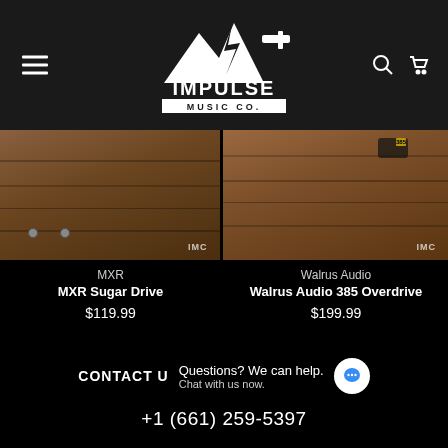[Figure (logo): Impulse Music Co. logo — white guitar silhouette with lightning bolt over stylized mountain, text IMPULSE MUSIC CO. on dark background]
[Figure (photo): Product photo of MXR Sugar Drive pedal on rustic wood surface with IMC watermark]
[Figure (photo): Product photo of Walrus Audio 385 Overdrive pedal on rustic wood surface with IMC watermark]
MXR
MXR Sugar Drive
$119.99
Walrus Audio
Walrus Audio 385 Overdrive
$199.99
CONTACT U
Questions? We can help.
Chat with us now.
+1 (661) 259-5397